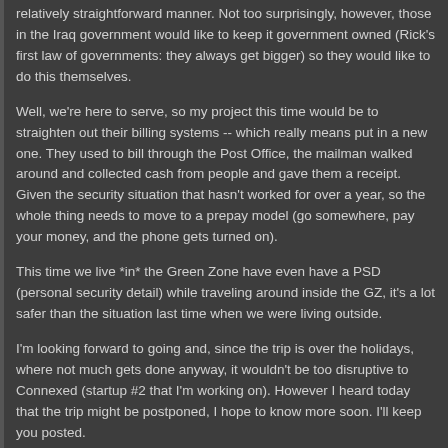relatively straightforward manner. Not too surprisingly, however, those in the Iraq government would like to keep it government owned (Rick's first law of governments: they always get bigger) so they would like to do this themselves.
Well, we're here to serve, so my project this time would be to straighten out their billing systems -- which really means put in a new one. They used to bill through the Post Office, the mailman walked around and collected cash from people and gave them a receipt. Given the security situation that hasn't worked for over a year, so the whole thing needs to move to a prepay model (go somewhere, pay your money, and the phone gets turned on).
This time we live *in* the Green Zone have even have a PSD (personal security detail) while traveling around inside the GZ, it's a lot safer than the situation last time when we were living outside.
I'm looking forward to going and, since the trip is over the holidays, where not much gets done anyway, it wouldn't be too disruptive to Connexed (startup #2 that I'm working on). However I heard today that the trip might be postponed, I hope to know more soon. I'll keep you posted.
Posted by rick at 04:17 PM